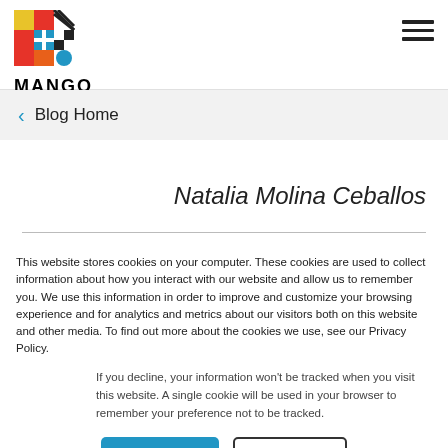[Figure (logo): Mango language learning logo — colorful geometric M shape above the word MANGO in bold black letters]
< Blog Home
Natalia Molina Ceballos
This website stores cookies on your computer. These cookies are used to collect information about how you interact with our website and allow us to remember you. We use this information in order to improve and customize your browsing experience and for analytics and metrics about our visitors both on this website and other media. To find out more about the cookies we use, see our Privacy Policy.
If you decline, your information won't be tracked when you visit this website. A single cookie will be used in your browser to remember your preference not to be tracked.
Accept
Decline